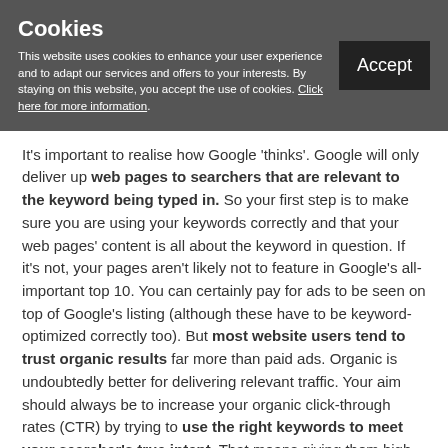Cookies
This website uses cookies to enhance your user experience and to adapt our services and offers to your interests. By staying on this website, you accept the use of cookies. Click here for more information.
It's important to realise how Google 'thinks'. Google will only deliver up web pages to searchers that are relevant to the keyword being typed in. So your first step is to make sure you are using your keywords correctly and that your web pages' content is all about the keyword in question. If it's not, your pages aren't likely not to feature in Google's all-important top 10. You can certainly pay for ads to be seen on top of Google's listing (although these have to be keyword-optimized correctly too). But most website users tend to trust organic results far more than paid ads. Organic is undoubtedly better for delivering relevant traffic. Your aim should always be to increase your organic click-through rates (CTR) by trying to use the right keywords to meet your searcher's true intent. That means giving them high-quality content, and by writing headlines and meta descriptions and the other important on-page elements well so that it clear what you're about for both your human